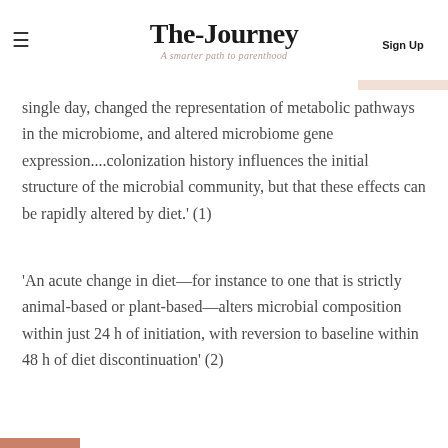The-Journey — A smarter path to parenthood — Sign Up
single day, changed the representation of metabolic pathways in the microbiome, and altered microbiome gene expression....colonization history influences the initial structure of the microbial community, but that these effects can be rapidly altered by diet.' (1)
'An acute change in diet—for instance to one that is strictly animal-based or plant-based—alters microbial composition within just 24 h of initiation, with reversion to baseline within 48 h of diet discontinuation' (2)